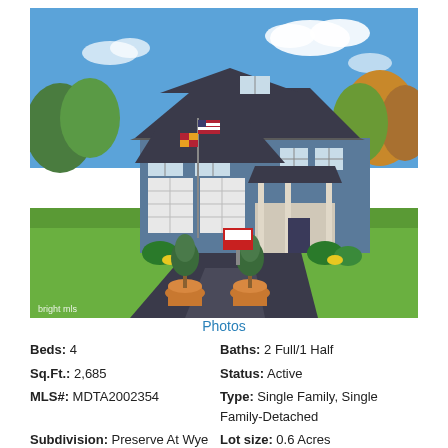[Figure (photo): Exterior photo of a two-story blue craftsman-style single family home with three-car garage, covered front porch, stone accents, flags on a pole, two potted topiary trees in foreground, asphalt driveway, green lawn, autumn trees in background, bright blue sky with clouds. Bright MLS watermark in lower left corner.]
Photos
Beds: 4
Baths: 2 Full/1 Half
Sq.Ft.: 2,685
Status: Active
MLS#: MDTA2002354
Type: Single Family, Single Family-Detached
Subdivision: Preserve At Wye
Lot size: 0.6 Acres